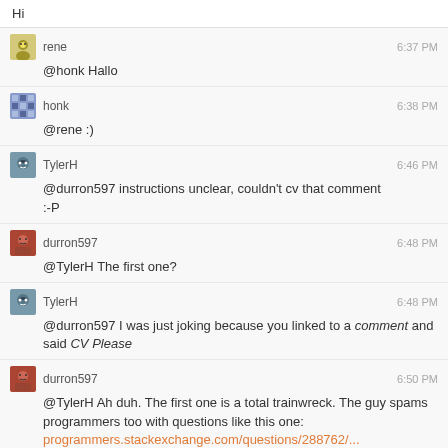Hi
rene 6:37 PM @honk Hallo
honk 6:38 PM @rene :)
TylerH 6:46 PM @durron597 instructions unclear, couldn't cv that comment :-P
durron597 6:48 PM @TylerH The first one?
TylerH 6:48 PM @durron597 I was just joking because you linked to a comment and said CV Please
durron597 6:50 PM @TylerH Ah duh. The first one is a total trainwreck. The guy spams programmers too with questions like this one: programmers.stackexchange.com/questions/288762/...
rene 6:56 PM @Closey alive?
Closey 6:56 PM @rene I'm not dead yet!